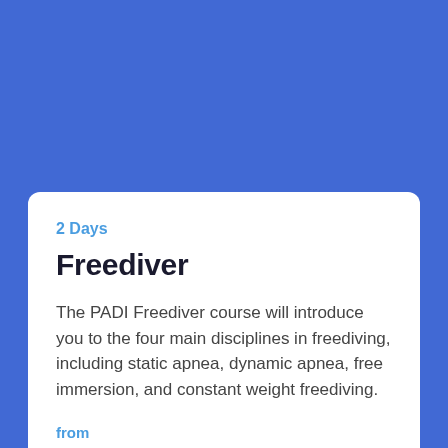2 Days
Freediver
The PADI Freediver course will introduce you to the four main disciplines in freediving, including static apnea, dynamic apnea, free immersion, and constant weight freediving.
from
R2700